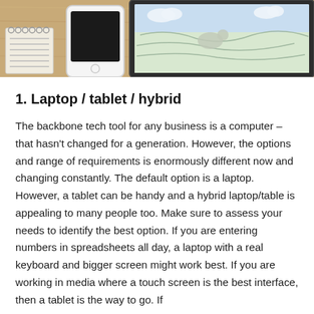[Figure (photo): Photo of a wooden desk with a spiral notebook, a white smartphone, and a tablet (showing a map/illustration) on a wooden surface viewed from above at an angle.]
1.  Laptop / tablet / hybrid
The backbone tech tool for any business is a computer – that hasn't changed for a generation. However, the options and range of requirements is enormously different now and changing constantly. The default option is a laptop. However, a tablet can be handy and a hybrid laptop/table is appealing to many people too. Make sure to assess your needs to identify the best option. If you are entering numbers in spreadsheets all day, a laptop with a real keyboard and bigger screen might work best. If you are working in media where a touch screen is the best interface, then a tablet is the way to go. If